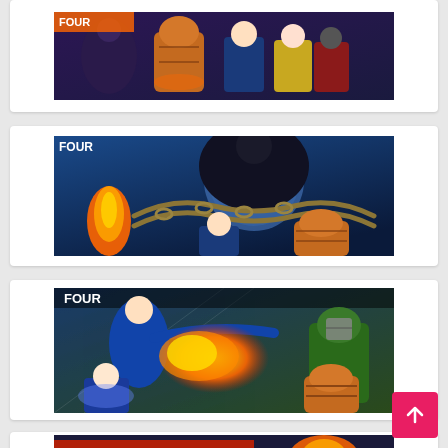[Figure (illustration): Comic book cover art showing Fantastic Four and other Marvel superheroes in a group action pose]
[Figure (illustration): Comic book cover art showing Fantastic Four characters including Black Panther, Human Torch, and The Thing against a blue background with chains]
[Figure (illustration): Comic book cover art showing Fantastic Four characters in action - Human Torch firing, Invisible Woman, Thing battling a green villain]
[Figure (illustration): Partial comic book cover art showing Fantastic Four logo at bottom of page, partially visible]